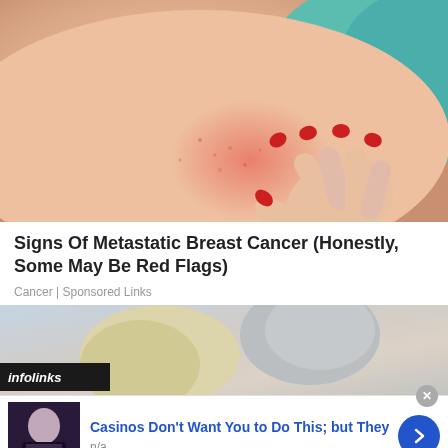[Figure (photo): Close-up photo of a woman's chest/collarbone area with reddened skin, her hand with red nail polish pressed against her chest, wearing a teal top]
Signs Of Metastatic Breast Cancer (Honestly, Some May Be Red Flags)
Cancer | Sponsored Links
[Figure (photo): Partial photo of two people, an older man with gray hair and a blonde woman, with infolinks badge overlay]
[Figure (photo): Advertisement thumbnail showing a person in dark clothing]
Casinos Don't Want You to Do This; but They
n/a